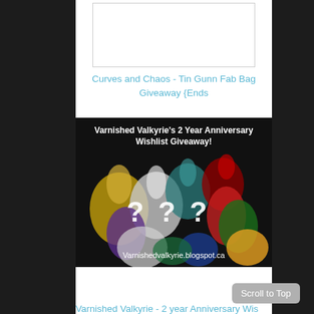[Figure (other): White rectangle placeholder image at the top of the content area]
Curves and Chaos - Tin Gunn Fab Bag Giveaway {Ends
[Figure (photo): Dark background image showing multiple nail polish bottles in various colors (gold, white/silver, purple, red, green, blue, orange) with three white question marks overlaid in the center, and text 'Varnished Valkyrie's 2 Year Anniversary Wishlist Giveaway!' at the top and 'Varnishedvalkyrie.blogspot.ca' at the bottom]
Scroll to Top
Varnished Valkyrie - 2 year Anniversary Wishlist